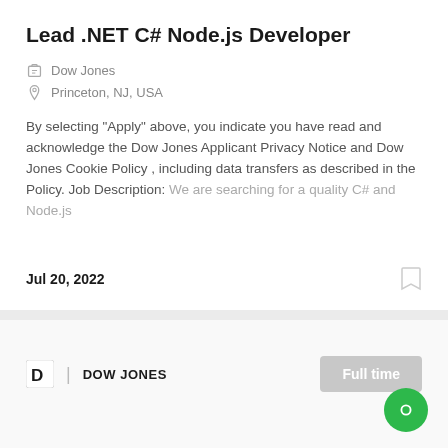Lead .NET C# Node.js Developer
Dow Jones
Princeton, NJ, USA
By selecting "Apply" above, you indicate you have read and acknowledge the Dow Jones Applicant Privacy Notice and Dow Jones Cookie Policy , including data transfers as described in the Policy. Job Description: We are searching for a quality C# and Node.js
Jul 20, 2022
DOW JONES
Full time